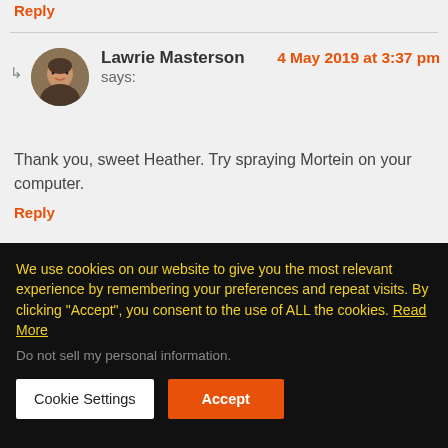Reply
Lawrie Masterson says: 4 May 2019 at 3:37 pm
Thank you, sweet Heather. Try spraying Mortein on your computer.
Reply
Leave a Reply
We use cookies on our website to give you the most relevant experience by remembering your preferences and repeat visits. By clicking “Accept”, you consent to the use of ALL the cookies. Read More
Do not sell my personal information.
Cookie Settings
Accept